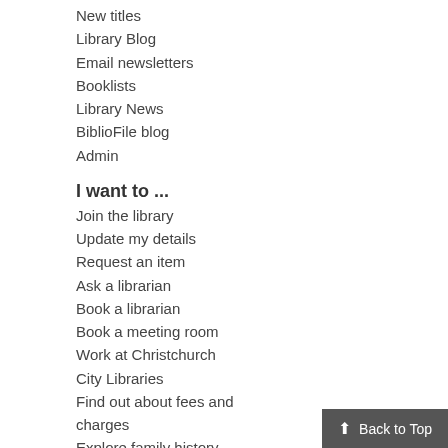New titles
Library Blog
Email newsletters
Booklists
Library News
BiblioFile blog
Admin
I want to ...
Join the library
Update my details
Request an item
Ask a librarian
Book a librarian
Book a meeting room
Work at Christchurch City Libraries
Find out about fees and charges
Explore family history
Enter a competition
Library sites
Library catalogue